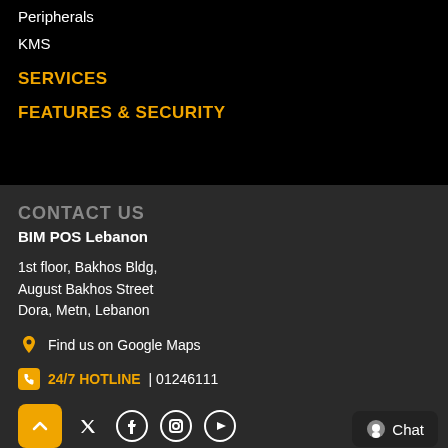Peripherals
KMS
SERVICES
FEATURES & SECURITY
CONTACT US
BIM POS Lebanon
1st floor, Bakhos Bldg,
August Bakhos Street
Dora, Metn, Lebanon
Find us on Google Maps
24/7 HOTLINE | 01246111